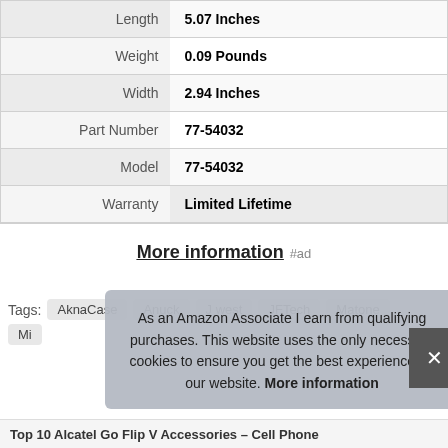| Length | 5.07 Inches |
| Weight | 0.09 Pounds |
| Width | 2.94 Inches |
| Part Number | 77-54032 |
| Model | 77-54032 |
| Warranty | Limited Lifetime |
More information #ad
Tags: AknaCase Anuck J west JFTech Matone
Mi...
As an Amazon Associate I earn from qualifying purchases. This website uses the only necessary cookies to ensure you get the best experience on our website. More information
Top 10 Alcatel Go Flip V Accessories – Cell Phone